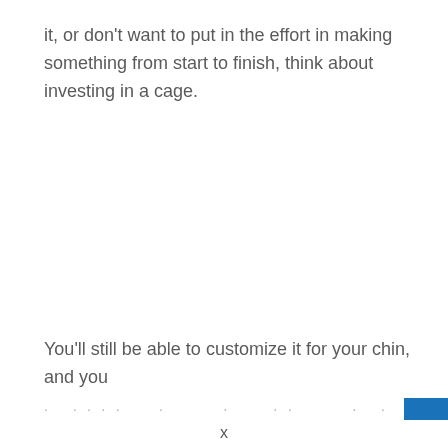it, or don't want to put in the effort in making something from start to finish, think about investing in a cage.
You'll still be able to customize it for your chin, and you
(partial line, obscured)